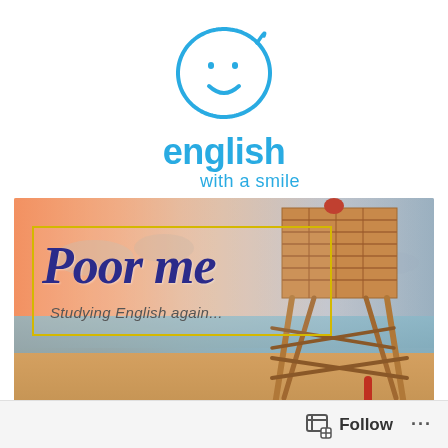[Figure (logo): English with a smile logo: blue smiley face circle with 'english' in large blue bold text and 'with a smile' in smaller blue text below]
[Figure (photo): Beach scene with a wooden lifeguard tower on the right, ocean in background, sandy shore. Overlay text in a yellow-bordered box reads 'Poor me' in large dark blue italic serif font, with subtitle 'Studying English again...' in italic below.]
Follow ...